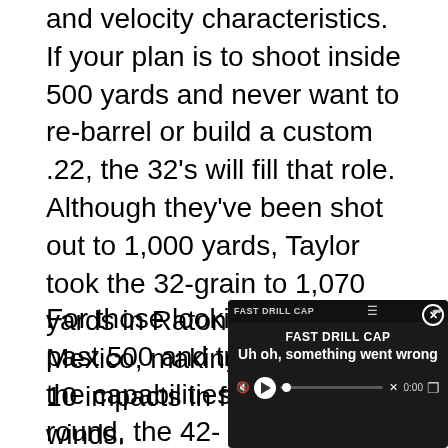and velocity characteristics. If your plan is to shoot inside 500 yards and never want to re-barrel or build a custom .22, the 32's will fill that role. Although they've been shot out to 1,000 yards, Taylor took the 32-grain to 1,070 yards in Raton, New Mexico, making two out of 10 impacts in full-value winds.
For those looking to step past 500 and truly stretch the capabilities of this tiny round, the 42- and 50-grain options are the ticket, though they'll require a faster twist. The 42-grain will need to be spun by a 1/10 or faster, while the 50-grain will require a minimum of 1/7 twist. And Bartlien did a custom run of Solutions who can spin on
[Figure (screenshot): Video player overlay with error message 'Uh oh, something went wrong', FAST DRILL CAP label, close button (x), mute icon, play button, progress bar at 0:00, and fullscreen icon.]